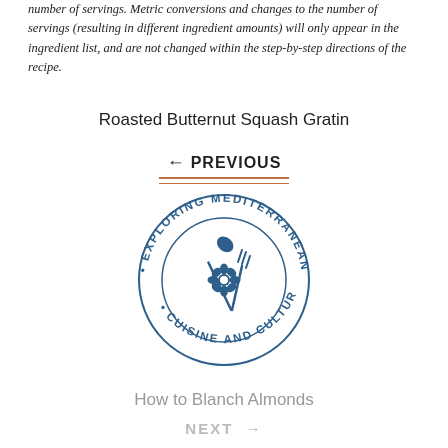number of servings. Metric conversions and changes to the number of servings (resulting in different ingredient amounts) will only appear in the ingredient list, and are not changed within the step-by-step directions of the recipe.
Roasted Butternut Squash Gratin
← PREVIOUS
[Figure (logo): Circular logo reading 'EXPLORING MEDITERRANEAN · CUISINE AND CULTURE ·' with crossed spoon and fork icon in dark blue]
How to Blanch Almonds
NEXT →